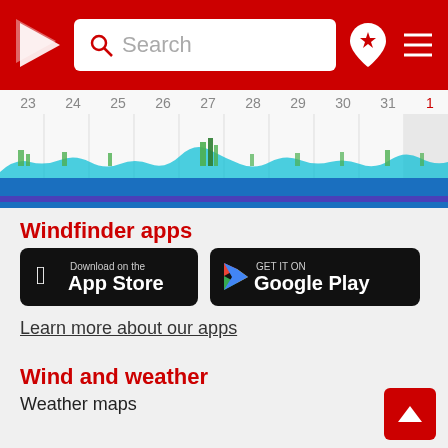Windfinder — Search bar navigation header
[Figure (continuous-plot): Wind/wave forecast chart strip showing dates 23–31 and 1, with colored bars (green, cyan, blue, purple) representing wind and wave data over time]
Windfinder apps
[Figure (other): Download on the App Store button (black rounded rectangle with Apple logo)]
[Figure (other): Get it on Google Play button (black rounded rectangle with Google Play logo)]
Learn more about our apps
Wind and weather
Weather maps
Forecasts & reports
Most visited spots
Locations